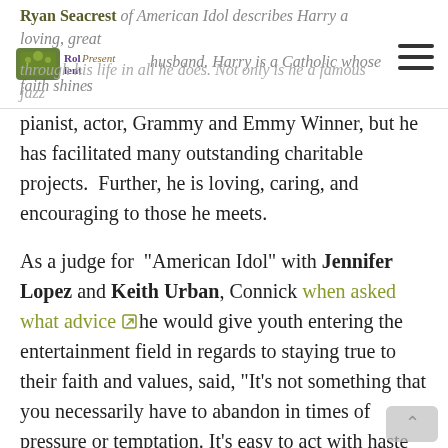Ryan Seacrest of American Idol describes Harry a loving, great husband. Harry is a Catholic whose faith shines through his life in all he does. Not only is he a famous jazz
pianist, actor, Grammy and Emmy Winner, but he has facilitated many outstanding charitable projects. Further, he is loving, caring, and encouraging to those he meets.
As a judge for “American Idol” with Jennifer Lopez and Keith Urban, Connick when asked what advice he would give youth entering the entertainment field in regards to staying true to their faith and values, said, “It’s not something that you necessarily have to abandon in times of pressure or temptation. It’s easy to act with haste and impulsivity. It’s a little bit harder to take a moment in a particular situation and consider your own values…but I think ultimately that’s probably the way to go, to think about what’s important to you and apply that to the decision that you make in real time. If